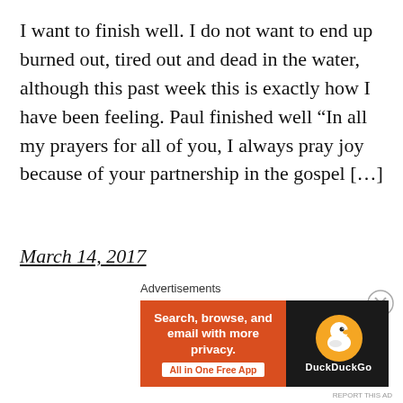I want to finish well. I do not want to end up burned out, tired out and dead in the water, although this past week this is exactly how I have been feeling. Paul finished well “In all my prayers for all of you, I always pray joy because of your partnership in the gospel […]
March 14, 2017
Advertisements
[Figure (other): DuckDuckGo advertisement banner with orange left panel reading 'Search, browse, and email with more privacy. All in One Free App' and dark right panel with DuckDuckGo duck logo]